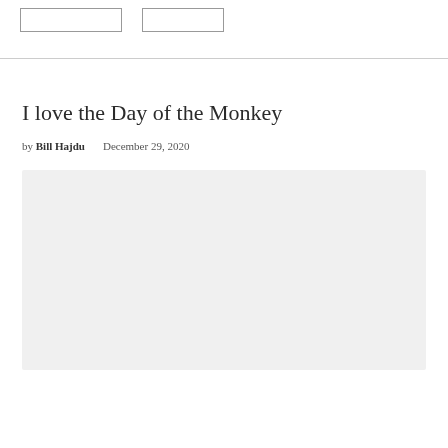I love the Day of the Monkey
by Bill Hajdu   December 29, 2020
[Figure (photo): Large light gray image placeholder rectangle]